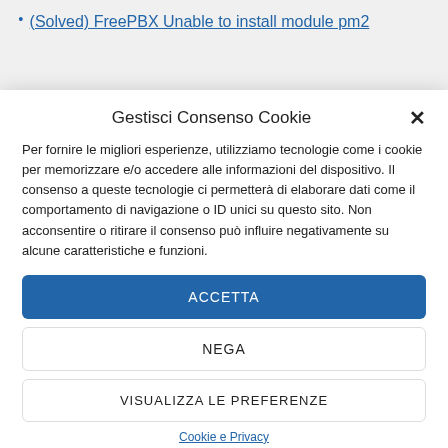(Solved) FreePBX Unable to install module pm2
Gestisci Consenso Cookie
Per fornire le migliori esperienze, utilizziamo tecnologie come i cookie per memorizzare e/o accedere alle informazioni del dispositivo. Il consenso a queste tecnologie ci permetterà di elaborare dati come il comportamento di navigazione o ID unici su questo sito. Non acconsentire o ritirare il consenso può influire negativamente su alcune caratteristiche e funzioni.
ACCETTA
NEGA
VISUALIZZA LE PREFERENZE
Cookie e Privacy